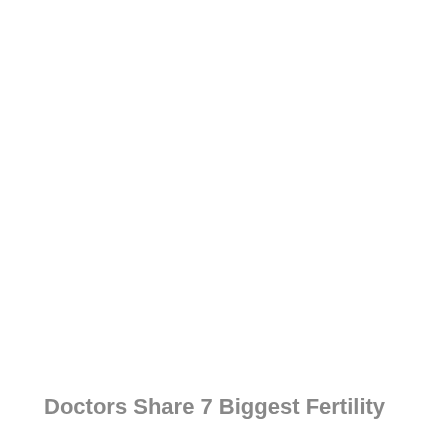Doctors Share 7 Biggest Fertility